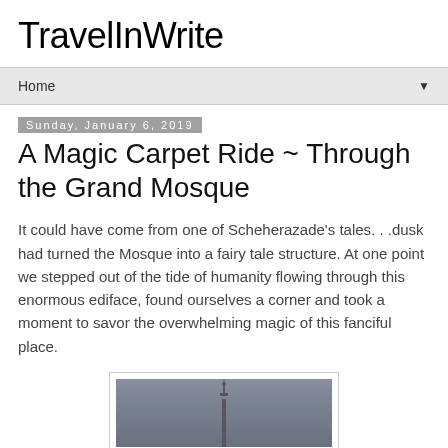TravelInWrite
Home
Sunday, January 6, 2019
A Magic Carpet Ride ~ Through the Grand Mosque
It could have come from one of Scheherazade's tales. . .dusk had turned the Mosque into a fairy tale structure. At one point we stepped out of the tide of humanity flowing through this enormous ediface, found ourselves a corner and took a moment to savor the overwhelming magic of this fanciful place.
[Figure (photo): A tall minaret of a mosque photographed at dusk against a grey-blue sky]